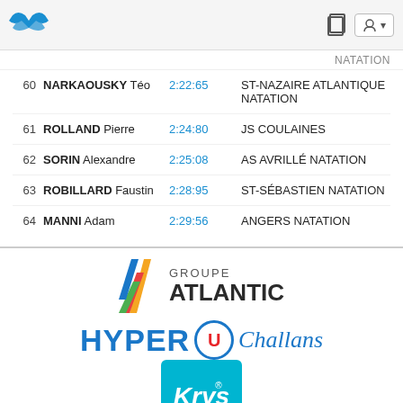Navigation header with logo and icons
| # | Name | Time | Club |
| --- | --- | --- | --- |
| 60 | NARKAOUSKY Téo | 2:22:65 | ST-NAZAIRE ATLANTIQUE NATATION |
| 61 | ROLLAND Pierre | 2:24:80 | JS COULAINES |
| 62 | SORIN Alexandre | 2:25:08 | AS AVRILLÉ NATATION |
| 63 | ROBILLARD Faustin | 2:28:95 | ST-SÉBASTIEN NATATION |
| 64 | MANNI Adam | 2:29:56 | ANGERS NATATION |
[Figure (logo): Groupe Atlantic logo with colored diagonal stripes and bold text]
[Figure (logo): Hyper U Challans logo in blue with circular U symbol]
[Figure (logo): Krys logo in white on cyan/turquoise square background]